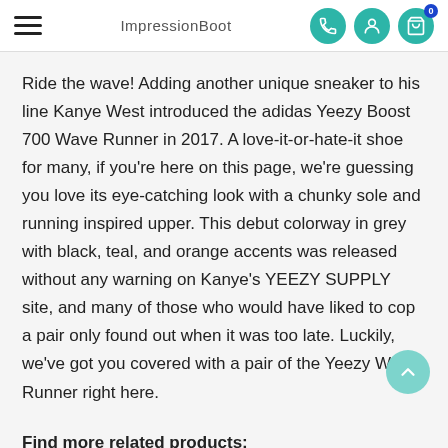ImpressionBoot
Ride the wave! Adding another unique sneaker to his line Kanye West introduced the adidas Yeezy Boost 700 Wave Runner in 2017. A love-it-or-hate-it shoe for many, if you're here on this page, we're guessing you love its eye-catching look with a chunky sole and running inspired upper. This debut colorway in grey with black, teal, and orange accents was released without any warning on Kanye's YEEZY SUPPLY site, and many of those who would have liked to cop a pair only found out when it was too late. Luckily, we've got you covered with a pair of the Yeezy Wave Runner right here.
Find more related products: